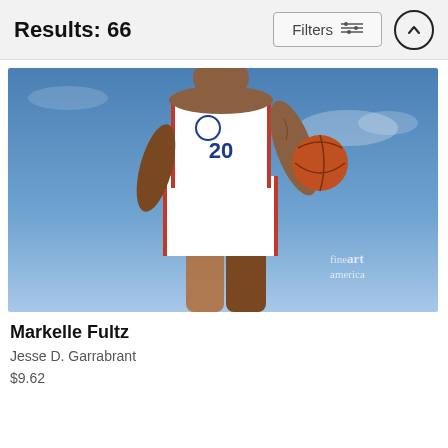Results: 66
[Figure (photo): Basketball player Markelle Fultz in Philadelphia 76ers white uniform, viewed from below, holding a basketball against a blue sky background. Fine Art America watermark visible in lower right.]
Markelle Fultz
Jesse D. Garrabrant
$9.62